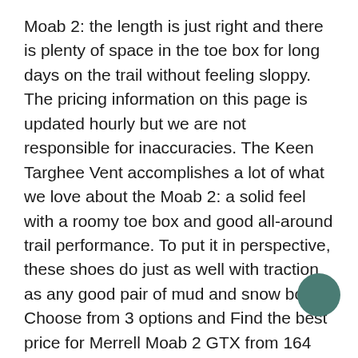Moab 2: the length is just right and there is plenty of space in the toe box for long days on the trail without feeling sloppy. The pricing information on this page is updated hourly but we are not responsible for inaccuracies. The Keen Targhee Vent accomplishes a lot of what we love about the Moab 2: a solid feel with a roomy toe box and good all-around trail performance. To put it in perspective, these shoes do just as well with traction as any good pair of mud and snow boots. Choose from 3 options and Find the best price for Merrell Moab 2 GTX from 164 offers. Merrell opted not to mess with the tread pattern or Vibram rubber compound from the original Moab with the “2.” We think this is a fine decision as the trusty outsole has proven to have a long lifespan and offers up decent all-around traction over rock and dirt. You can only select a maximum of 12